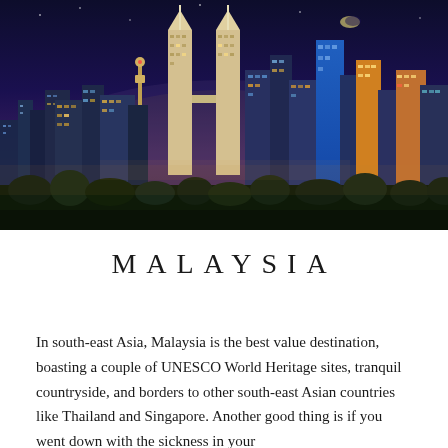[Figure (photo): Night skyline of Kuala Lumpur, Malaysia, featuring the illuminated Petronas Twin Towers and other skyscrapers against a twilight sky with purple and blue hues.]
MALAYSIA
In south-east Asia, Malaysia is the best value destination, boasting a couple of UNESCO World Heritage sites, tranquil countryside, and borders to other south-east Asian countries like Thailand and Singapore. Another good thing is if you went down with the sickness in your